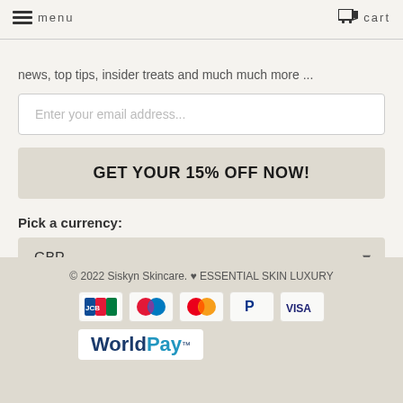menu | cart
news, top tips, insider treats and much much more ...
Enter your email address...
GET YOUR 15% OFF NOW!
Pick a currency:
GBP
© 2022 Siskyn Skincare. ♥ ESSENTIAL SKIN LUXURY
[Figure (other): Payment method icons: JCB, Maestro, Mastercard, PayPal, VISA and WorldPay badge]